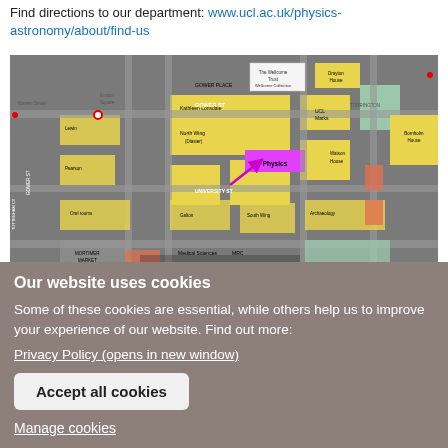Find directions to our department: www.ucl.ac.uk/physics-astronomy/about/find-us
[Figure (map): Campus map of UCL showing Physics building highlighted in magenta, surrounded by university buildings in yellow, streets in grey, with an arrow pointing to Physics department. Overlay shows 'Cookie settings' label.]
Our website uses cookies
Some of these cookies are essential, while others help us to improve your experience of our website. Find out more:
Privacy Policy (opens in new window)
Accept all cookies
Manage cookies